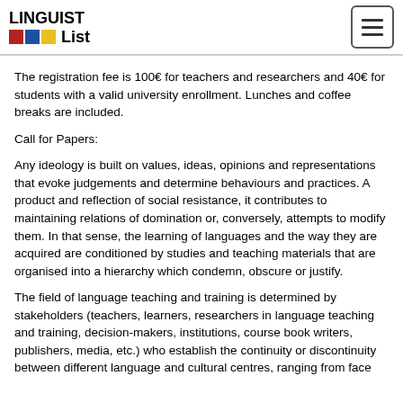LINGUIST List
The registration fee is 100€ for teachers and researchers and 40€ for students with a valid university enrollment. Lunches and coffee breaks are included.
Call for Papers:
Any ideology is built on values, ideas, opinions and representations that evoke judgements and determine behaviours and practices. A product and reflection of social resistance, it contributes to maintaining relations of domination or, conversely, attempts to modify them. In that sense, the learning of languages and the way they are acquired are conditioned by studies and teaching materials that are organised into a hierarchy which condemn, obscure or justify.
The field of language teaching and training is determined by stakeholders (teachers, learners, researchers in language teaching and training, decision-makers, institutions, course book writers, publishers, media, etc.) who establish the continuity or discontinuity between different language and cultural centres, ranging from face...